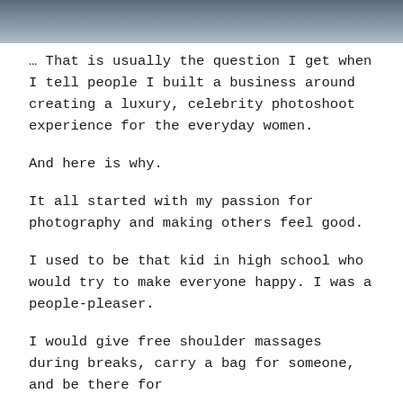[Figure (photo): Top portion of a photograph showing a person, cropped at the bottom of the image strip]
… That is usually the question I get when I tell people I built a business around creating a luxury, celebrity photoshoot experience for the everyday women.
And here is why.
It all started with my passion for photography and making others feel good.
I used to be that kid in high school who would try to make everyone happy. I was a people-pleaser.
I would give free shoulder massages during breaks, carry a bag for someone, and be there for